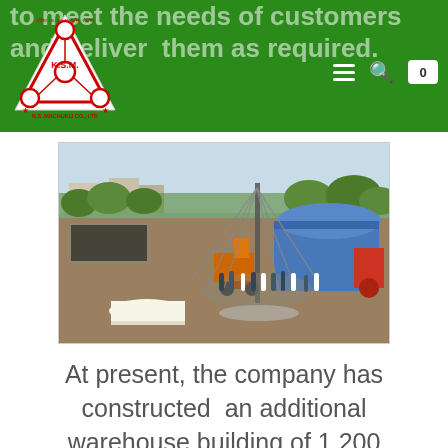to meet the needs of customers and deliver them as required.
[Figure (logo): K.S.M. / K.S. Machukij Co., Ltd. triangular logo with red text and circles]
[Figure (photo): Aerial/elevated view of a construction site ground-breaking ceremony with excavator, workers gathered around a tall drilling rig, and a blue warehouse structure in the background surrounded by green landscape]
At present, the company has constructed an additional warehouse building of 1,200